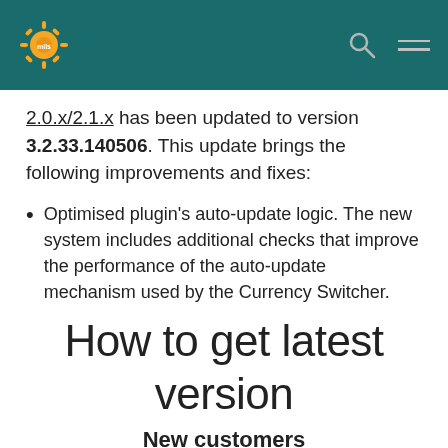[Logo] mils | [search icon] [hamburger menu]
2.0.x/2.1.x has been updated to version 3.2.33.140506. This update brings the following improvements and fixes:
Optimised plugin's auto-update logic. The new system includes additional checks that improve the performance of the auto-update mechanism used by the Currency Switcher.
How to get latest version
New customers
Simply place your order and you will get the latest version.